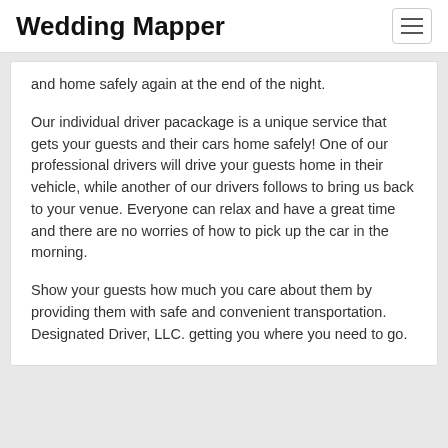Wedding Mapper
and home safely again at the end of the night.
Our individual driver pacackage is a unique service that gets your guests and their cars home safely! One of our professional drivers will drive your guests home in their vehicle, while another of our drivers follows to bring us back to your venue. Everyone can relax and have a great time and there are no worries of how to pick up the car in the morning.
Show your guests how much you care about them by providing them with safe and convenient transportation. Designated Driver, LLC. getting you where you need to go.